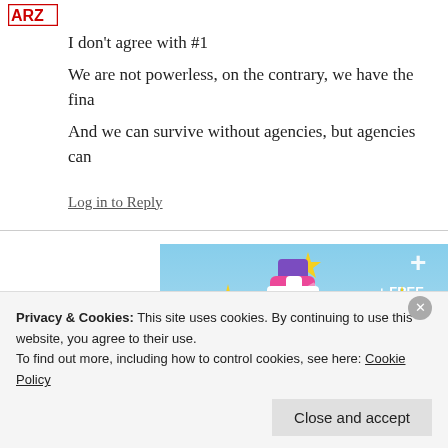[Figure (logo): Red logo icon (ARL or similar) in top left]
I don't agree with #1
We are not powerless, on the contrary, we have the fina
And we can survive without agencies, but agencies can
Log in to Reply
[Figure (illustration): Tumblr AD-FREE advertisement banner with Tumblr logo on sky blue background with sparkles and text 'TUMBLR AD-FREE' and '+ FREE']
Privacy & Cookies: This site uses cookies. By continuing to use this website, you agree to their use.
To find out more, including how to control cookies, see here: Cookie Policy
Close and accept